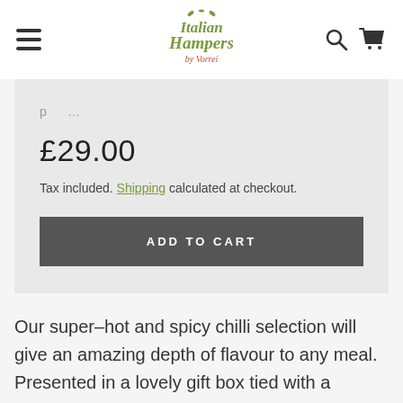Italian Hampers by Vorrei
£29.00
Tax included. Shipping calculated at checkout.
ADD TO CART
Our super–hot and spicy chilli selection will give an amazing depth of flavour to any meal. Presented in a lovely gift box tied with a ribbon, this is the perfect little